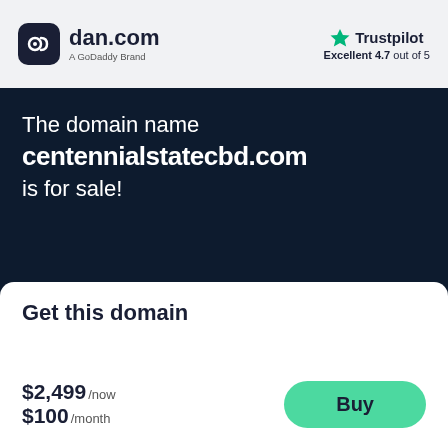[Figure (logo): dan.com logo with dark rounded square icon and text 'dan.com', subtitle 'A GoDaddy Brand']
[Figure (logo): Trustpilot logo with green star, text 'Trustpilot', subtitle 'Excellent 4.7 out of 5']
The domain name
centennialstatecbd.com
is for sale!
Get this domain
$2,499 /now
$100 /month